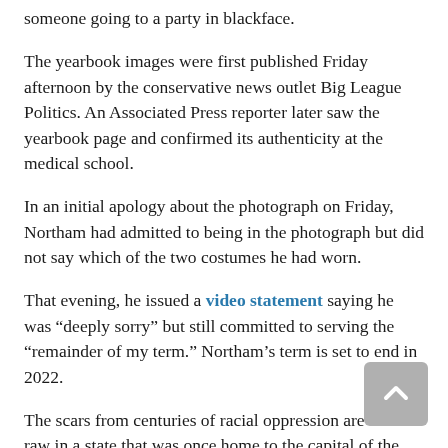someone going to a party in blackface.
The yearbook images were first published Friday afternoon by the conservative news outlet Big League Politics. An Associated Press reporter later saw the yearbook page and confirmed its authenticity at the medical school.
In an initial apology about the photograph on Friday, Northam had admitted to being in the photograph but did not say which of the two costumes he had worn.
That evening, he issued a video statement saying he was “deeply sorry” but still committed to serving the “remainder of my term.” Northam’s term is set to end in 2022.
The scars from centuries of racial oppression are still raw in a state that was once home to the capital of the Confederacy.
Virginians continue to struggle with the state’s legacy of slavery, Jim Crow and Massive Resistance, the anti-school segregation push. Heated debates about the Confederate